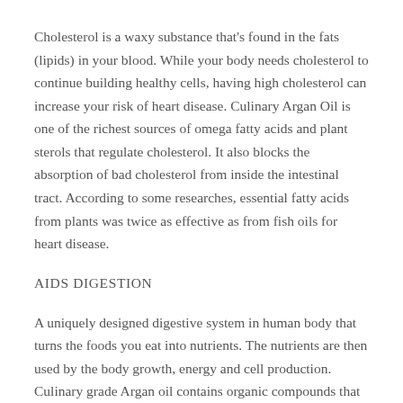Cholesterol is a waxy substance that's found in the fats (lipids) in your blood. While your body needs cholesterol to continue building healthy cells, having high cholesterol can increase your risk of heart disease. Culinary Argan Oil is one of the richest sources of omega fatty acids and plant sterols that regulate cholesterol. It also blocks the absorption of bad cholesterol from inside the intestinal tract. According to some researches, essential fatty acids from plants was twice as effective as from fish oils for heart disease.
AIDS DIGESTION
A uniquely designed digestive system in human body that turns the foods you eat into nutrients. The nutrients are then used by the body growth, energy and cell production. Culinary grade Argan oil contains organic compounds that when added to food increases pepsin which is an important enzyme in